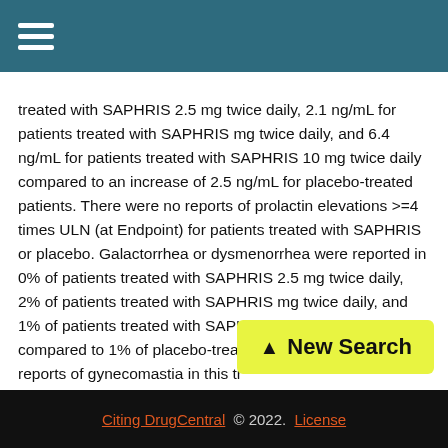☰ (navigation menu)
treated with SAPHRIS 2.5 mg twice daily, 2.1 ng/mL for patients treated with SAPHRIS mg twice daily, and 6.4 ng/mL for patients treated with SAPHRIS 10 mg twice daily compared to an increase of 2.5 ng/mL for placebo-treated patients. There were no reports of prolactin elevations >=4 times ULN (at Endpoint) for patients treated with SAPHRIS or placebo. Galactorrhea or dysmenorrhea were reported in 0% of patients treated with SAPHRIS 2.5 mg twice daily, 2% of patients treated with SAPHRIS mg twice daily, and 1% of patients treated with SAPHRIS 10 mg twice daily compared to 1% of placebo-treated no reports of gynecomastia in this tr (0%). There were...
Citing DrugCentral © 2022. License